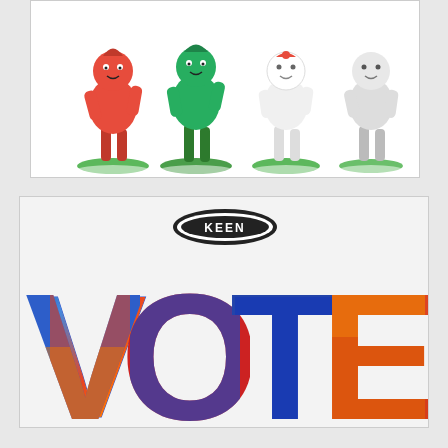[Figure (photo): Four cartoon-style figurines standing on green bases: from left to right, a red figure, a green figure, a white figure, and a white/gray figure. Each has a circular green base and white rim.]
[Figure (photo): KEEN brand logo (oval black and white badge with KEEN text) at top center, and large colorful 'VOTE' text in multicolor tie-dye style (blue, red, orange, yellow) on a light gray background.]